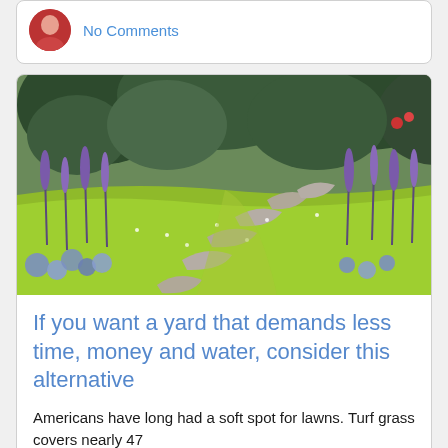No Comments
[Figure (photo): Garden path with stepping stones surrounded by bright chartreuse ground cover and purple salvia flowers, with trees in the background]
If you want a yard that demands less time, money and water, consider this alternative
Americans have long had a soft spot for lawns. Turf grass covers nearly 47